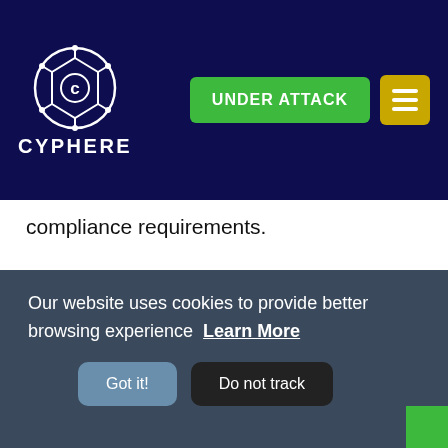CYPHERE — UNDER ATTACK
compliance requirements.
[Figure (other): YouTube play button icon — red rounded rectangle with white triangle play arrow]
Our website uses cookies to provide better browsing experience  Learn More
Got it!   Do not track